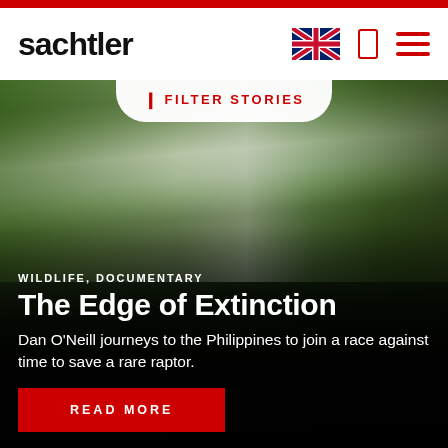sachtler
[Figure (screenshot): Sachtler website screenshot showing navigation header with logo, UK flag, phone and hamburger menu icons, a 'FILTER STORIES' button, and a featured wildlife documentary story card with background image of a videographer in a jungle setting.]
WILDLIFE, DOCUMENTARY
The Edge of Extinction
Dan O'Neill journeys to the Philippines to join a race against time to save a rare raptor.
READ MORE